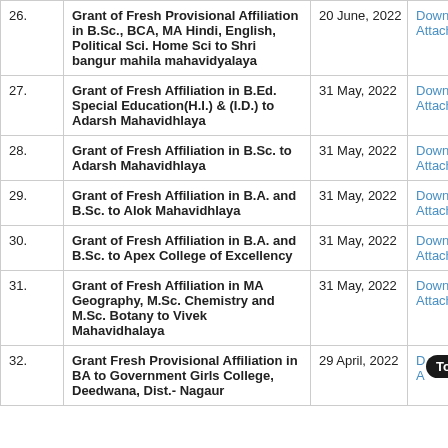| # | Title | Date | Attachment |
| --- | --- | --- | --- |
| 26. | Grant of Fresh Provisional Affiliation in B.Sc., BCA, MA Hindi, English, Political Sci. Home Sci to Shri bangur mahila mahavidyalaya | 20 June, 2022 | Download Attachment |
| 27. | Grant of Fresh Affiliation in B.Ed. Special Education(H.I.) & (I.D.) to Adarsh Mahavidhlaya | 31 May, 2022 | Download Attachment |
| 28. | Grant of Fresh Affiliation in B.Sc. to Adarsh Mahavidhlaya | 31 May, 2022 | Download Attachment |
| 29. | Grant of Fresh Affiliation in B.A. and B.Sc. to Alok Mahavidhlaya | 31 May, 2022 | Download Attachment |
| 30. | Grant of Fresh Affiliation in B.A. and B.Sc. to Apex College of Excellency | 31 May, 2022 | Download Attachment |
| 31. | Grant of Fresh Affiliation in MA Geography, M.Sc. Chemistry and M.Sc. Botany to Vivek Mahavidhalaya | 31 May, 2022 | Download Attachment |
| 32. | Grant Fresh Provisional Affiliation in BA to Government Girls College, Deedwana, Dist.- Nagaur | 29 April, 2022 | Download Attachment |